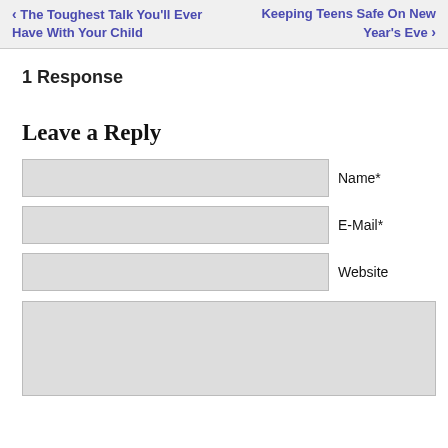‹ The Toughest Talk You'll Ever Have With Your Child   Keeping Teens Safe On New Year's Eve ›
1 Response
Leave a Reply
Name*
E-Mail*
Website